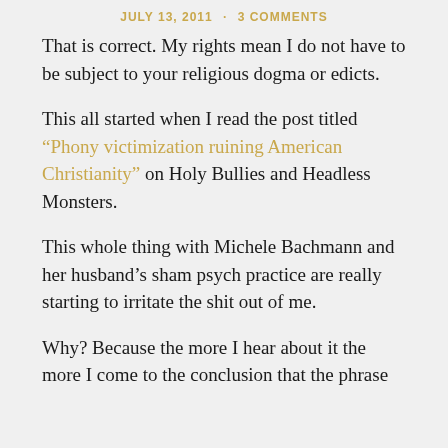JULY 13, 2011 · 3 COMMENTS
That is correct. My rights mean I do not have to be subject to your religious dogma or edicts.
This all started when I read the post titled “Phony victimization ruining American Christianity” on Holy Bullies and Headless Monsters.
This whole thing with Michele Bachmann and her husband’s sham psych practice are really starting to irritate the shit out of me.
Why? Because the more I hear about it the more I come to the conclusion that the phrase